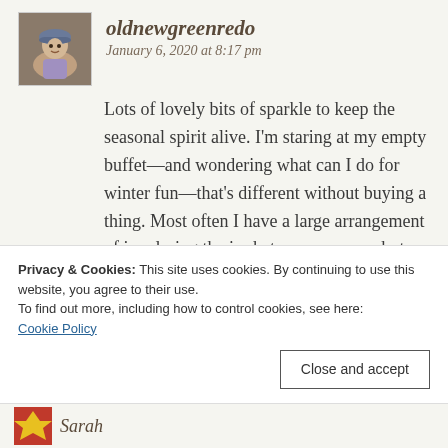oldnewgreenredo
January 6, 2020 at 8:17 pm
Lots of lovely bits of sparkle to keep the seasonal spirit alive. I’m staring at my empty buffet—and wondering what can I do for winter fun—that’s different without buying a thing. Most often I have a large arrangement of ivy during the in=between seasons, but now I’m thinking just white....thanks for more inspiration!
Privacy & Cookies: This site uses cookies. By continuing to use this website, you agree to their use.
To find out more, including how to control cookies, see here: Cookie Policy
Close and accept
Sarah